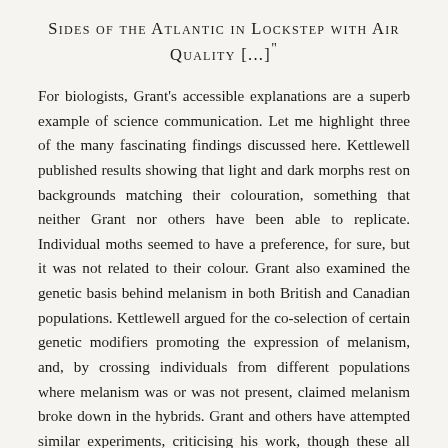SIDES OF THE ATLANTIC IN LOCKSTEP WITH AIR QUALITY [...]"
For biologists, Grant's accessible explanations are a superb example of science communication. Let me highlight three of the many fascinating findings discussed here. Kettlewell published results showing that light and dark morphs rest on backgrounds matching their colouration, something that neither Grant nor others have been able to replicate. Individual moths seemed to have a preference, for sure, but it was not related to their colour. Grant also examined the genetic basis behind melanism in both British and Canadian populations. Kettlewell argued for the co-selection of certain genetic modifiers promoting the expression of melanism, and, by crossing individuals from different populations where melanism was or was not present, claimed melanism broke down in the hybrids. Grant and others have attempted similar experiments, criticising his work, though these all had their own shortcomings. Most spectacular is